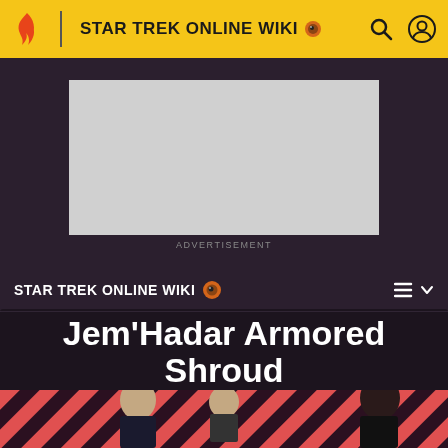STAR TREK ONLINE WIKI
[Figure (screenshot): Advertisement placeholder (gray rectangle)]
ADVERTISEMENT
STAR TREK ONLINE WIKI
Jem'Hadar Armored Shroud
EDIT
[Figure (illustration): Striped red/black diagonal pattern with character figures at bottom]